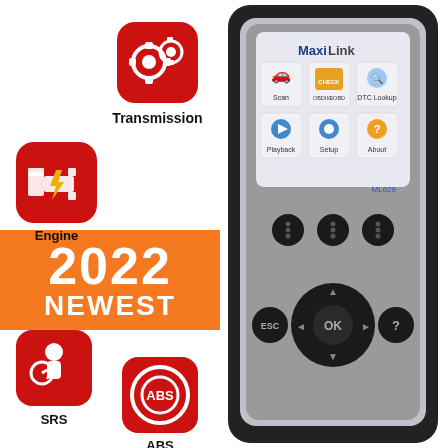[Figure (photo): Product photo of Autel MaxiLink ML629 OBD2 scanner diagnostic tool with color display showing scan menu icons (Scan, OBDII/EOBD, DTC Lookup, Playback, Setup, About) and navigation buttons (ESC, OK, arrow keys, function buttons). Device has black rubber casing with silver front panel.]
[Figure (illustration): Red rounded square icon with engine/check-engine light symbol (car engine with lightning bolt)]
Engine
[Figure (illustration): Red rounded square icon with transmission/gear symbol]
Transmission
2022
NEWEST
[Figure (illustration): Red rounded square icon with SRS/airbag warning person symbol]
SRS
[Figure (illustration): Red rounded square icon with ABS brakes circle symbol]
ABS